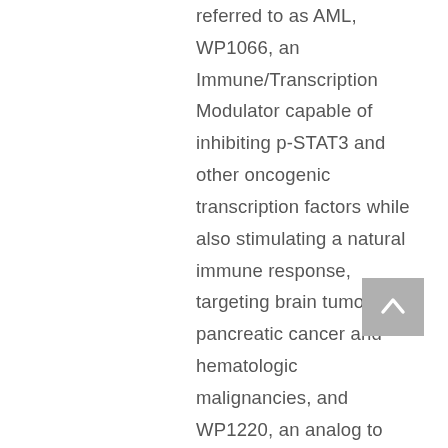referred to as AML, WP1066, an Immune/Transcription Modulator capable of inhibiting p-STAT3 and other oncogenic transcription factors while also stimulating a natural immune response, targeting brain tumors, pancreatic cancer and hematologic malignancies, and WP1220, an analog to WP1066, for the topical treatment of cutaneous T-cell lymphoma. Moleculin is also engaged in preclinical development of additional drug candidates, including other Immune/Transcription Modulators, as well as WP1122 and related compounds capable of